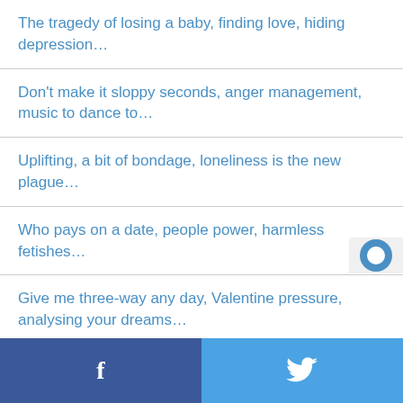The tragedy of losing a baby, finding love, hiding depression…
Don't make it sloppy seconds, anger management, music to dance to…
Uplifting, a bit of bondage, loneliness is the new plague…
Who pays on a date, people power, harmless fetishes…
Give me three-way any day, Valentine pressure, analysing your dreams…
…